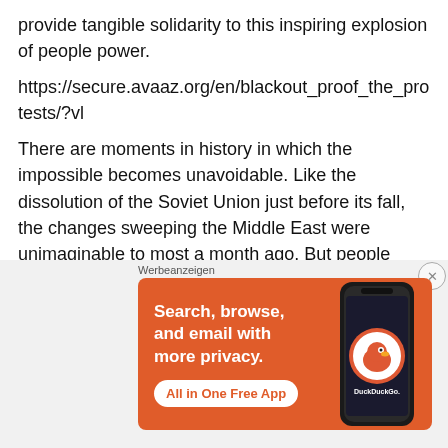provide tangible solidarity to this inspiring explosion of people power.
https://secure.avaaz.org/en/blackout_proof_the_protests/?vl
There are moments in history in which the impossible becomes unavoidable. Like the dissolution of the Soviet Union just before its fall, the changes sweeping the Middle East were unimaginable to most a month ago. But people power has a logic and timeline all its own. While many of us may never step foot in the Middle East, the hopes of its
[Figure (screenshot): DuckDuckGo advertisement banner with orange background. Text: 'Search, browse, and email with more privacy. All in One Free App' with DuckDuckGo logo and a smartphone image. Labeled 'Werbeanzeigen' (German for advertisements).]